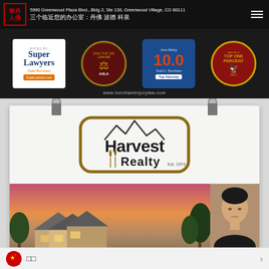5990 Greenwood Plaza Blvd., Bldg 2, Ste 130, Greenwood Village, CO 80111 三个临近您的办公室：丹佛 波德 科泉
[Figure (infographic): Law firm credentials banner: Super Lawyers (Todd Burnham, SuperLawyers.com), ASLA 2016 Top 100 Lawyer badge, Avvo Rating 10.0 Todd C. Burnham Top Attorney, National Association of Distinguished Counsel Top One Percent badge. URL: www.burnhaminjurylaw.com]
[Figure (logo): Harvest Realty logo with mountain silhouette and wheat stalks, Est. 1974, on paper card held by binder clips]
[Figure (photo): House exterior at dusk with trees and pink/orange sky, and partial portrait of an Asian man]
□□